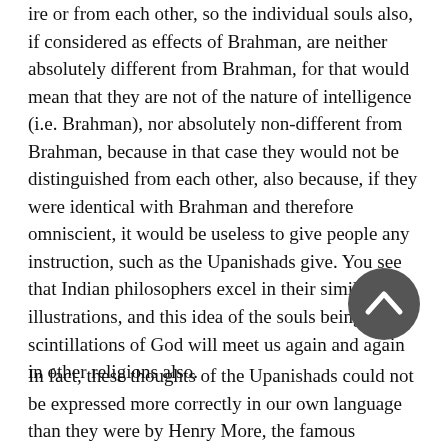ire or from each other, so the individual souls also, if considered as effects of Brahman, are neither absolutely different from Brahman, for that would mean that they are not of the nature of intelligence (i.e. Brahman), nor absolutely non-different from Brahman, because in that case they would not be distinguished from each other, also because, if they were identical with Brahman and therefore omniscient, it would be useless to give people any instruction, such as the Upanishads give. You see that Indian philosophers excel in their similes and illustrations, and this idea of the souls being scintillations of God will meet us again and again in other religions also.
In fact, these thoughts of the Upanishads could not be expressed more correctly in our own language than they were by Henry More, the famous Cambridge theologian, when he says:—